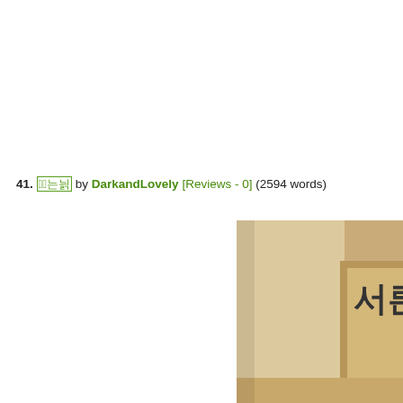41. 서른살 by DarkandLovely [Reviews - 0] (2594 words)
[Figure (photo): Partial image of a room interior with Korean text '서른' visible on a wall, warm beige/wood tones, doorframe visible]